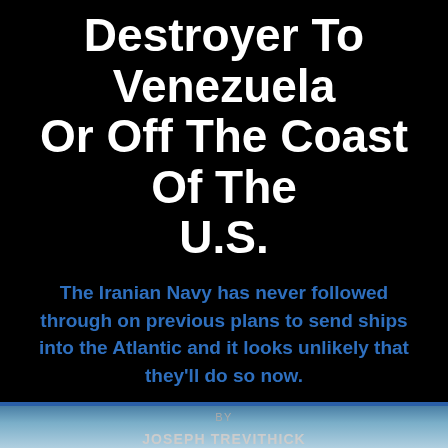Destroyer To Venezuela Or Off The Coast Of The U.S.
The Iranian Navy has never followed through on previous plans to send ships into the Atlantic and it looks unlikely that they'll do so now.
BY
JOSEPH TREVITHICK
MAY 11, 2020 9:40 AM
THE WAR ZONE